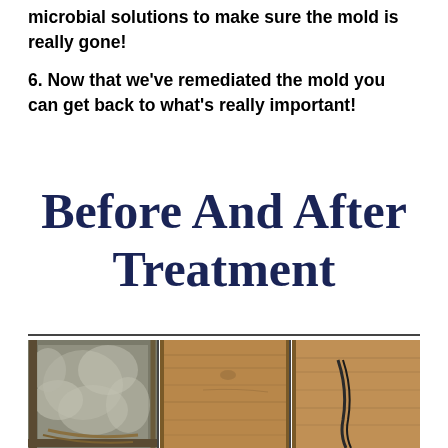microbial solutions to make sure the mold is really gone!
6. Now that we've remediated the mold you can get back to what's really important!
Before And After Treatment
[Figure (photo): Before and after mold treatment comparison showing three panels: left panel with heavy mold growth on a surface, center and right panels showing clean wood after treatment.]